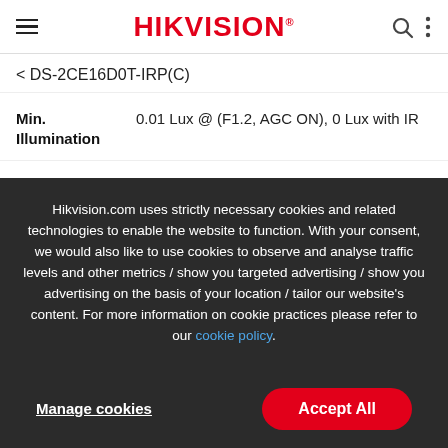HIKVISION
< DS-2CE16D0T-IRP(C)
| Parameter | Value |
| --- | --- |
| Min. Illumination | 0.01 Lux @ (F1.2, AGC ON), 0 Lux with IR |
Hikvision.com uses strictly necessary cookies and related technologies to enable the website to function. With your consent, we would also like to use cookies to observe and analyse traffic levels and other metrics / show you targeted advertising / show you advertising on the basis of your location / tailor our website's content. For more information on cookie practices please refer to our cookie policy.
Manage cookies
Accept All